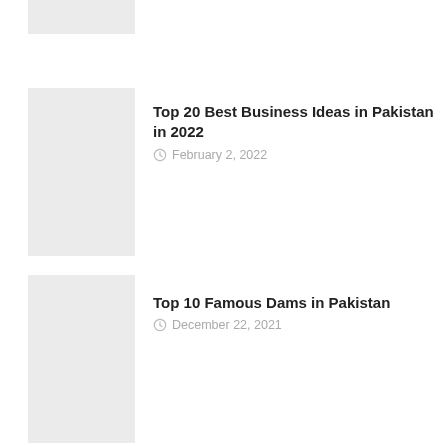November 4, 2021
Top 20 Best Business Ideas in Pakistan in 2022
February 2, 2022
Top 10 Famous Dams in Pakistan
December 22, 2021
Best Floor Plan for 5 Marla House Design in Pakistan
November 16, 2021
Top 8 Best Housing Societies in Islamabad